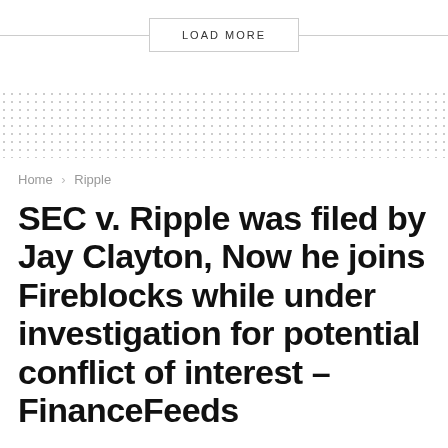LOAD MORE
[Figure (other): Dotted pattern band divider]
Home > Ripple
SEC v. Ripple was filed by Jay Clayton, Now he joins Fireblocks while under investigation for potential conflict of interest – FinanceFeeds